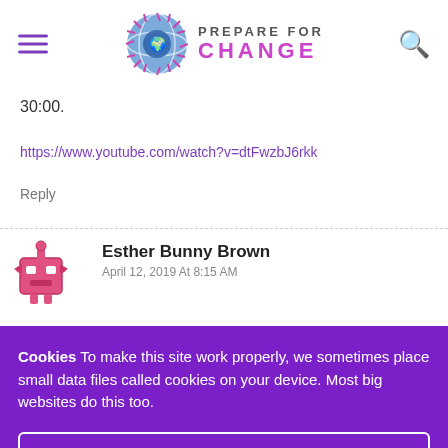Prepare For Change
30:00.
https://www.youtube.com/watch?v=dtFwzbJ6rkk
Reply
Esther Bunny Brown
April 12, 2019 At 8:15 AM
Cookies To make this site work properly, we sometimes place small data files called cookies on your device. Most big websites do this too.
✔ Accept
Change Settings ⚙